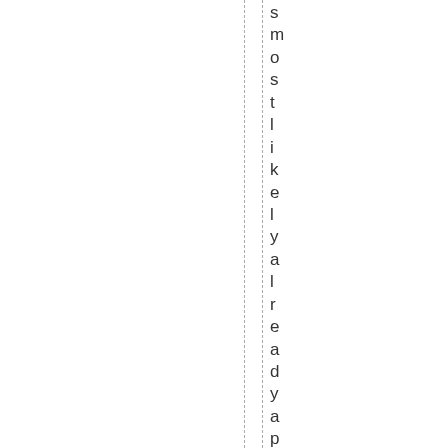s m o s t l i k e l y a l r e a d y a p o l l u t t i o n . f